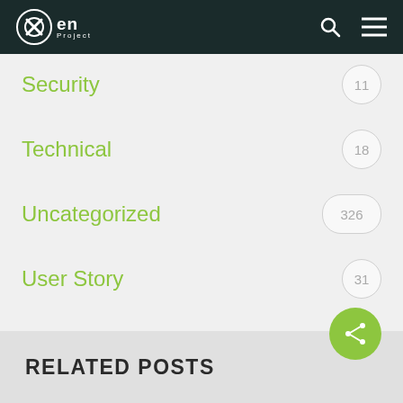Xen Project
Security  11
Technical  18
Uncategorized  326
User Story  31
Xen Summit  3
RELATED POSTS